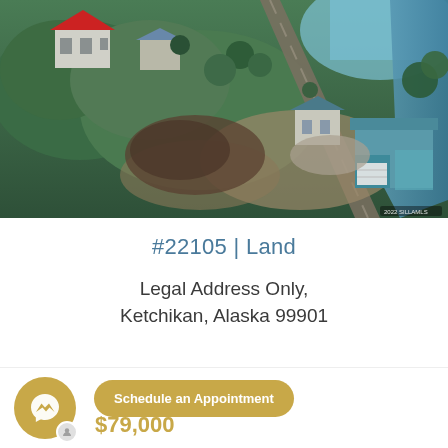[Figure (photo): Aerial drone photo of a rural area near Ketchikan, Alaska showing wooded land, buildings with metal roofs (including one with a red roof and one teal/blue commercial building), a road, and waterfront visible at the right edge.]
#22105 | Land
Legal Address Only, Ketchikan, Alaska 99901
[Figure (other): Facebook Messenger chat button icon (golden/tan circular button with messenger lightning bolt logo)]
Schedule an Appointment
$79,000